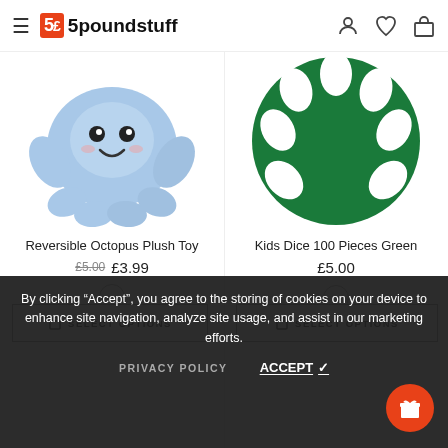5poundstuff
[Figure (photo): Blue reversible octopus plush toy with smiley face]
[Figure (photo): Green Kids Dice 100 Pieces product image]
Reversible Octopus Plush Toy
£5.00  £3.99
Kids Dice 100 Pieces Green
£5.00
SELECT OPTIONS
SELECT OPTIONS
By clicking “Accept”, you agree to the storing of cookies on your device to enhance site navigation, analyze site usage, and assist in our marketing efforts.
PRIVACY POLICY
ACCEPT ✓